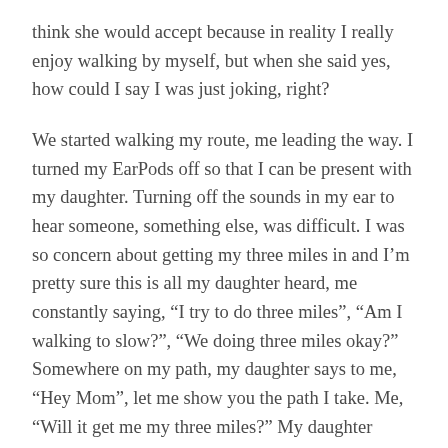think she would accept because in reality I really enjoy walking by myself, but when she said yes, how could I say I was just joking, right?
We started walking my route, me leading the way. I turned my EarPods off so that I can be present with my daughter. Turning off the sounds in my ear to hear someone, something else, was difficult. I was so concern about getting my three miles in and I’m pretty sure this is all my daughter heard, me constantly saying, “I try to do three miles”, “Am I walking to slow?”, “We doing three miles okay?” Somewhere on my path, my daughter says to me, “Hey Mom”, let me show you the path I take. Me, “Will it get me my three miles?” My daughter responds, “It might.” Me, still worried her path